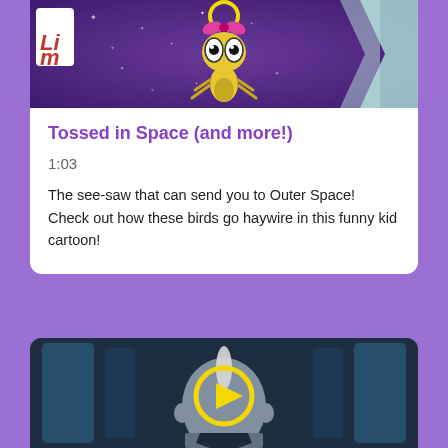[Figure (screenshot): Cartoon character (bug with pink bow and yellow halo) floating in space with sparkly purple background. Lima logo visible on left.]
Tossed in Space (and more!)
1:03
The see-saw that can send you to Outer Space! Check out how these birds go haywire in this funny kid cartoon!
[Figure (screenshot): Animated villain character seen from behind, bald with white streak, standing in front of blue panels. Yellow play button overlaid in center.]